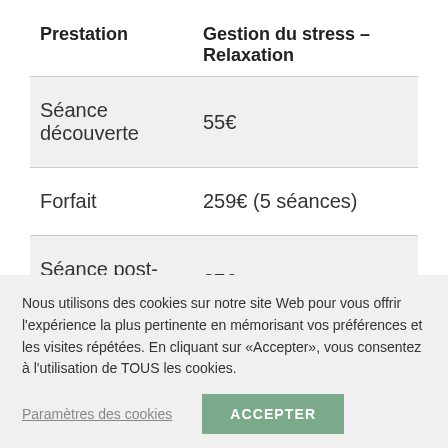| Prestation | Gestion du stress – Relaxation |
| --- | --- |
| Séance découverte | 55€ |
| Forfait | 259€ (5 séances) |
| Séance post- | 37€ |
Nous utilisons des cookies sur notre site Web pour vous offrir l'expérience la plus pertinente en mémorisant vos préférences et les visites répétées. En cliquant sur «Accepter», vous consentez à l'utilisation de TOUS les cookies.
Paramètres des cookies
ACCEPTER